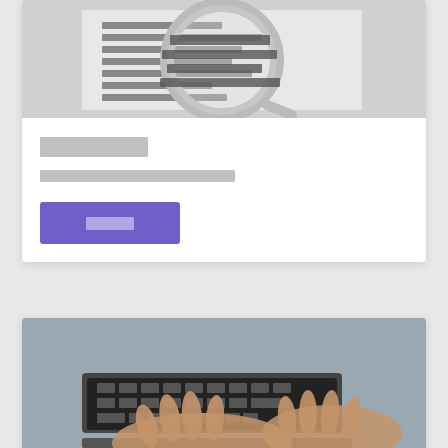[Figure (photo): Close-up of a document with German text about job responsibilities, viewed through a magnifying glass]
███████
█████████████████
█████
[Figure (photo): Person typing on a laptop keyboard, close-up of hands on keyboard]
███████